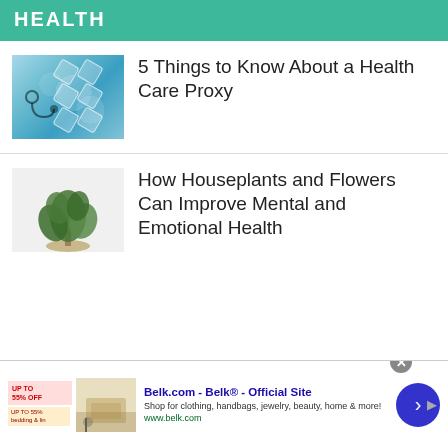HEALTH
[Figure (photo): Doctor holding stethoscope with blue digital health icons/hexagons overlay]
5 Things to Know About a Health Care Proxy
[Figure (photo): Green houseplant on light background]
How Houseplants and Flowers Can Improve Mental and Emotional Health
Belk.com - Belk® - Official Site Shop for clothing, handbags, jewelry, beauty, home & more! www.belk.com